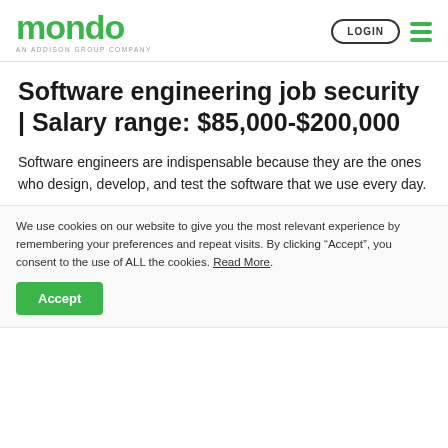mondo AN ADDISON GROUP COMPANY | LOGIN
Software engineering job security | Salary range: $85,000-$200,000
Software engineers are indispensable because they are the ones who design, develop, and test the software that we use every day.
We use cookies on our website to give you the most relevant experience by remembering your preferences and repeat visits. By clicking “Accept”, you consent to the use of ALL the cookies. Read More.
Accept